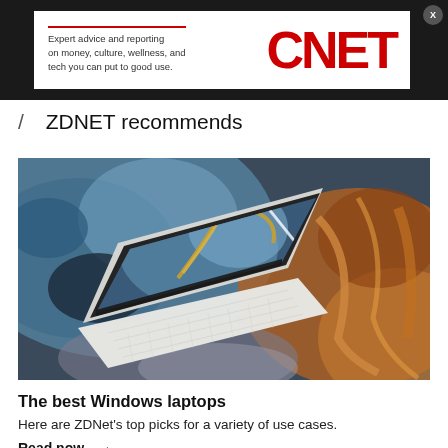[Figure (logo): CNET advertisement banner with tagline 'Expert advice and reporting on money, culture, wellness, and tech you can put to good use.' and CNET logo in red]
/ ZDNET recommends
[Figure (photo): A white laptop (Dell XPS) open on a colorful marble-like surface, shot from above, with an abstract screen wallpaper]
The best Windows laptops
Here are ZDNet's top picks for a variety of use cases.
Read now →